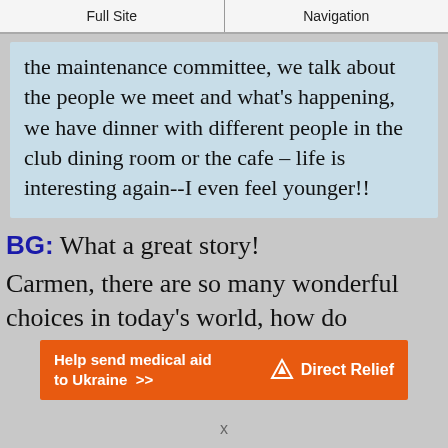Full Site | Navigation
the maintenance committee, we talk about the people we meet and what's happening, we have dinner with different people in the club dining room or the cafe – life is interesting again--I even feel younger!!
BG: What a great story!
Carmen, there are so many wonderful choices in today's world, how do
[Figure (other): Direct Relief advertisement banner: orange background with white bold text 'Help send medical aid to Ukraine >>' and Direct Relief logo with dove icon on the right]
x